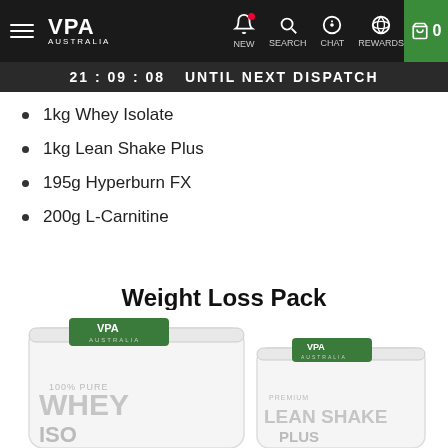VPA Australia — NEW SEARCH CHAT REWARDS — Cart 0
21 : 09 : 08  UNTIL NEXT DISPATCH
1kg Whey Isolate
1kg Lean Shake Plus
195g Hyperburn FX
200g L-Carnitine
Weight Loss Pack
[Figure (photo): Two white VPA Australia supplement pouches: 100% Pure Whey Isolate (larger, on left) and Premium Lean Shake Plus (smaller, on right), both with green labels and VPA branding.]